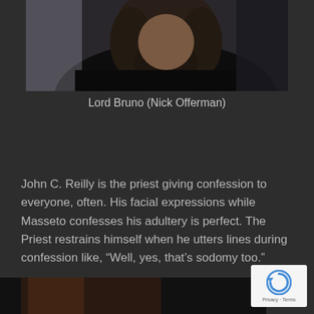[Figure (photo): Photo of a bearded man with long dark hair wearing dark clothing, partially visible from mid-torso up, with blurred background]
Lord Bruno (Nick Offerman)
John C. Reilly is the priest giving confession to everyone, often. His facial expressions while Masseto confesses his adultery is perfect. The Priest restrains himself when he utters lines during confession like, “Well, yes, that’s sodomy too.”
[Figure (photo): Partial photo visible at bottom of page]
[Figure (other): Google reCAPTCHA badge with Privacy and Terms links]